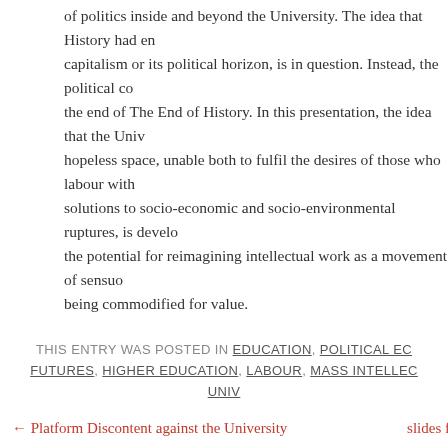of politics inside and beyond the University. The idea that History had en capitalism or its political horizon, is in question. Instead, the political co the end of The End of History. In this presentation, the idea that the Univ hopeless space, unable both to fulfil the desires of those who labour with solutions to socio-economic and socio-environmental ruptures, is develo the potential for reimagining intellectual work as a movement of sensuo being commodified for value.
THIS ENTRY WAS POSTED IN EDUCATION, POLITICAL EC FUTURES, HIGHER EDUCATION, LABOUR, MASS INTELLEC UNIV
← Platform Discontent against the University    slides f
Comments are closed.